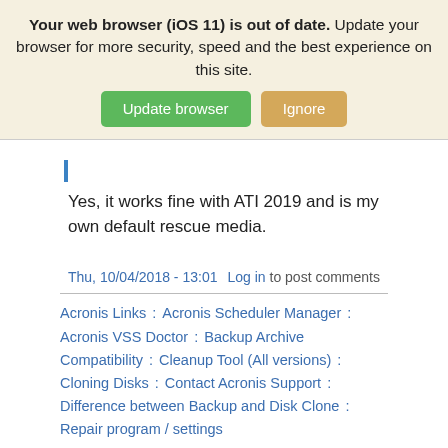Your web browser (iOS 11) is out of date. Update your browser for more security, speed and the best experience on this site.
Update browser | Ignore
Yes, it works fine with ATI 2019 and is my own default rescue media.
Thu, 10/04/2018 - 13:01   Log in to post comments
Acronis Links : Acronis Scheduler Manager : Acronis VSS Doctor : Backup Archive Compatibility : Cleanup Tool (All versions) : Cloning Disks : Contact Acronis Support : Difference between Backup and Disk Clone : Repair program / settings
MVP Assistant (Log Viewer) latest version see pinned topic in